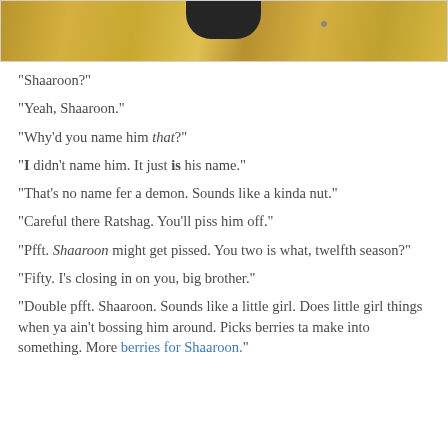[Figure (photo): Top portion of an image showing a golden/yellow textured background with a dark shape at top center, bordered by a light gray frame]
"Shaaroon?"
"Yeah, Shaaroon."
"Why'd you name him that?"
"I didn't name him. It just is his name."
"That's no name fer a demon. Sounds like a kinda nut."
"Careful there Ratshag. You'll piss him off."
"Pfft. Shaaroon might get pissed. You two is what, twelfth season?"
"Fifty. I's closing in on you, big brother."
"Double pfft. Shaaroon. Sounds like a little girl. Does little girl things when ya ain't bossing him around. Picks berries ta make into something. More berries for Shaaroon."